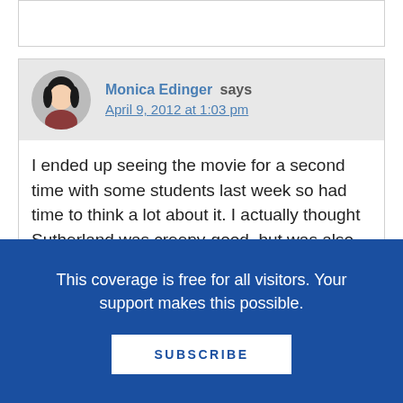Monica Edinger says
April 9, 2012 at 1:03 pm
I ended up seeing the movie for a second time with some students last week so had time to think a lot about it. I actually thought Sutherland was creepy-good, but was also puzzled by the amount of attention they gave him. Figured it was a set-up for the next movie. (Must admit though that Sutherland sounded an awful like
This coverage is free for all visitors. Your support makes this possible.
SUBSCRIBE